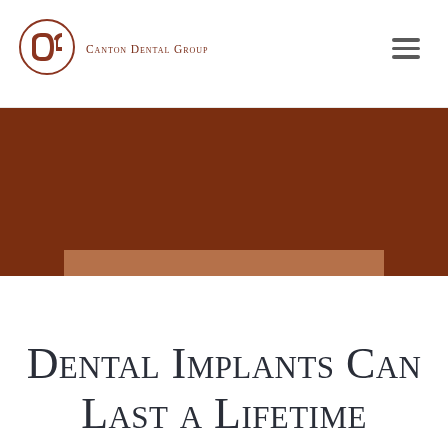[Figure (logo): Canton Dental Group logo with stylized CDG monogram and text]
SCHEDULE APPOINTMENT
Dental Implants Can Last a Lifetime